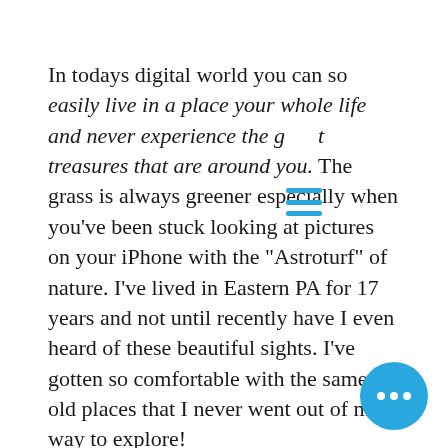In todays digital world you can so easily live in a place your whole life and never experience the g t treasures that are around you. The grass is always greener especially when you've been stuck looking at pictures on your iPhone with the "Astroturf" of nature. I've lived in Eastern PA for 17 years and not until recently have I even heard of these beautiful sights. I've gotten so comfortable with the same old places that I never went out of my way to explore!

I think that is true of life as well, often do conversations stay on the